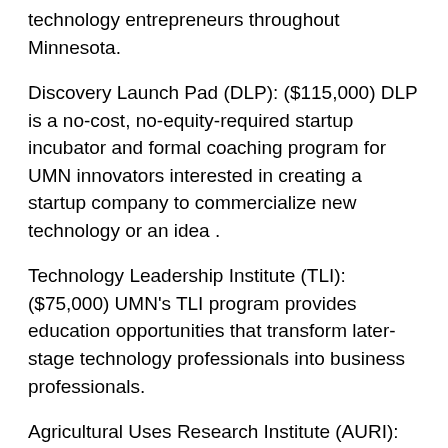technology entrepreneurs throughout Minnesota.
Discovery Launch Pad (DLP): ($115,000) DLP is a no-cost, no-equity-required startup incubator and formal coaching program for UMN innovators interested in creating a startup company to commercialize new technology or an idea .
Technology Leadership Institute (TLI): ($75,000) UMN's TLI program provides education opportunities that transform later-stage technology professionals into business professionals.
Agricultural Uses Research Institute (AURI): ($35,000) MBOLD's Bold Growth initiative, led by AURI and Grow North, will provide education and technical/business support to high-growth food and agriculture entrepreneurial businesses.